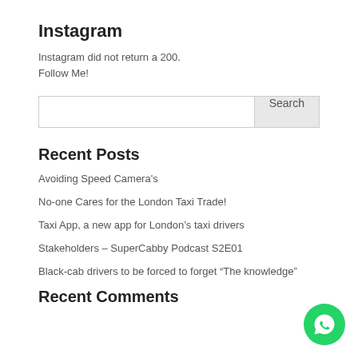Instagram
Instagram did not return a 200.
Follow Me!
Search
Recent Posts
Avoiding Speed Camera's
No-one Cares for the London Taxi Trade!
Taxi App, a new app for London's taxi drivers
Stakeholders – SuperCabby Podcast S2E01
Black-cab drivers to be forced to forget “The knowledge”
Recent Comments
[Figure (logo): WhatsApp logo button in green circle, bottom right corner]